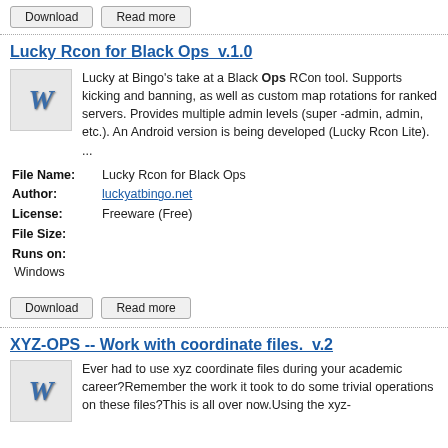Download | Read more (buttons)
Lucky Rcon for Black Ops  v.1.0
Lucky at Bingo's take at a Black Ops RCon tool. Supports kicking and banning, as well as custom map rotations for ranked servers. Provides multiple admin levels (super -admin, admin, etc.). An Android version is being developed (Lucky Rcon Lite). ...
| Field | Value |
| --- | --- |
| File Name: | Lucky Rcon for Black Ops |
| Author: | luckyatbingo.net |
| License: | Freeware (Free) |
| File Size: |  |
| Runs on: | Windows |
Download | Read more (buttons)
XYZ-OPS -- Work with coordinate files.  v.2
Ever had to use xyz coordinate files during your academic career?Remember the work it took to do some trivial operations on these files?This is all over now.Using the xyz-